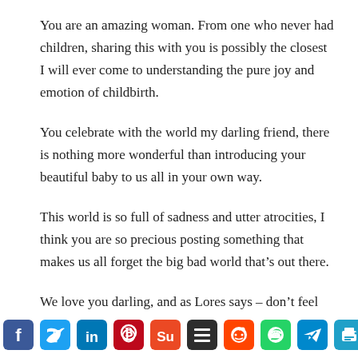You are an amazing woman. From one who never had children, sharing this with you is possibly the closest I will ever come to understanding the pure joy and emotion of childbirth.
You celebrate with the world my darling friend, there is nothing more wonderful than introducing your beautiful baby to us all in your own way.
This world is so full of sadness and utter atrocities, I think you are so precious posting something that makes us all forget the big bad world that's out there.
We love you darling, and as Lores says – don't feel ashamed or patronised by some silly woman who clearly has nothing …ming part of the